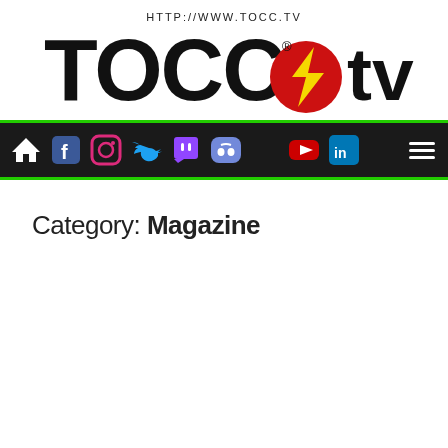[Figure (logo): TOCC TV logo with lightning bolt, URL http://www.tocc.tv above]
[Figure (screenshot): Navigation bar with social media icons: home, Facebook, Instagram, Twitter, Twitch, Discord, YouTube, LinkedIn, and hamburger menu. Dark background with green borders.]
Category: Magazine